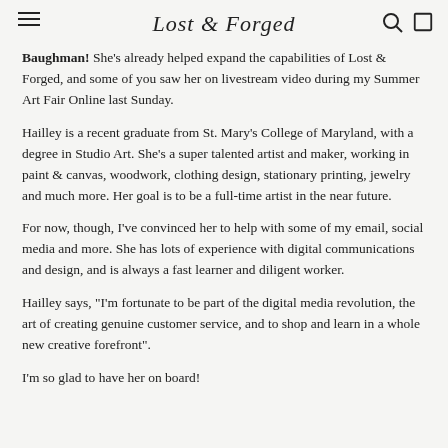Lost & Forged
Baughman! She's already helped expand the capabilities of Lost & Forged, and some of you saw her on livestream video during my Summer Art Fair Online last Sunday.
Hailley is a recent graduate from St. Mary's College of Maryland, with a degree in Studio Art. She's a super talented artist and maker, working in paint & canvas, woodwork, clothing design, stationary printing, jewelry and much more. Her goal is to be a full-time artist in the near future.
For now, though, I've convinced her to help with some of my email, social media and more. She has lots of experience with digital communications and design, and is always a fast learner and diligent worker.
Hailley says, "I'm fortunate to be part of the digital media revolution, the art of creating genuine customer service, and to shop and learn in a whole new creative forefront".
I'm so glad to have her on board!